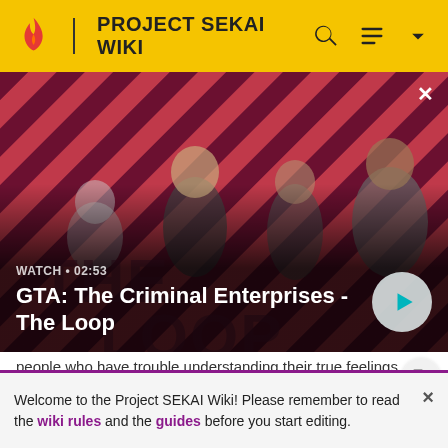PROJECT SEKAI WIKI
[Figure (screenshot): Video thumbnail for 'GTA: The Criminal Enterprises - The Loop' showing four characters against a red diagonal striped background. Labels show WATCH • 02:53 with a play button on the right.]
people who have trouble understanding their true feelings through music.
Welcome to the Project SEKAI Wiki! Please remember to read the wiki rules and the guides before you start editing.